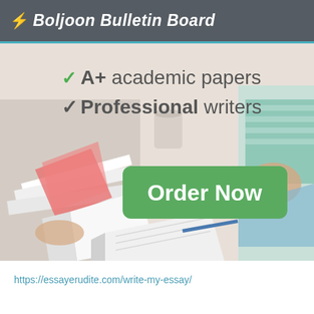Boljoon Bulletin Board
[Figure (infographic): Advertisement banner for essay writing service showing students studying with text: A+ academic papers, Professional writers, and a green Order Now button]
https://essayerudite.com/write-my-essay/